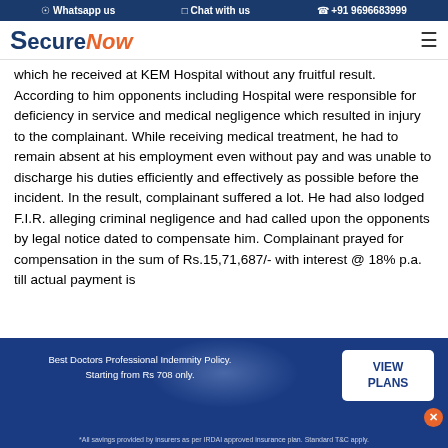Whatsapp us   Chat with us   +91 9696683999
[Figure (logo): SecureNow logo with hamburger menu]
which he received at KEM Hospital without any fruitful result. According to him opponents including Hospital were responsible for deficiency in service and medical negligence which resulted in injury to the complainant. While receiving medical treatment, he had to remain absent at his employment even without pay and was unable to discharge his duties efficiently and effectively as possible before the incident. In the result, complainant suffered a lot. He had also lodged F.I.R. alleging criminal negligence and had called upon the opponents by legal notice dated to compensate him. Complainant prayed for compensation in the sum of Rs.15,71,687/- with interest @ 18% p.a. till actual payment is
Best Doctors Professional Indemnity Policy. Starting from Rs 708 only.
*All savings provided by insurers as per IRDAI approved insurance plan. Standard T&C apply.